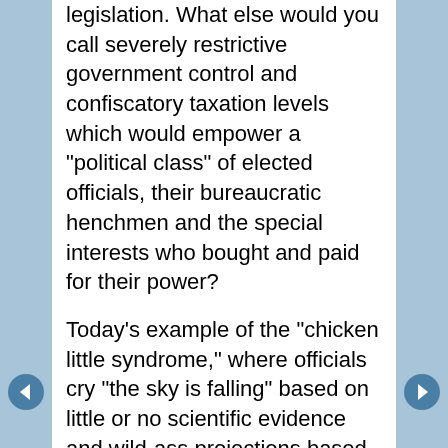legislation. What else would you call severely restrictive government control and confiscatory taxation levels which would empower a "political class" of elected officials, their bureaucratic henchmen and the special interests who bought and paid for their power?
Today's example of the "chicken little syndrome," where officials cry "the sky is falling" based on little or no scientific evidence and wild-ass projections based on flawed computer modeling, comes from Australia where the "eco-Nazis" are trying to force the signing of the globally destructive Kyoto protocol.
From an AFP (Agence France-Presse) report...